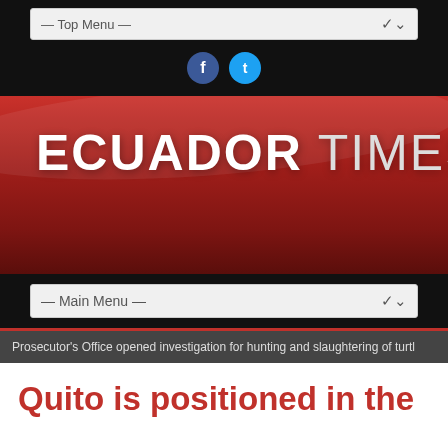— Top Menu —
[Figure (illustration): Facebook and Twitter social media icons (circular buttons)]
[Figure (logo): Ecuador Times .net logo on red gradient banner background]
— Main Menu —
Prosecutor's Office opened investigation for hunting and slaughtering of turtl
Quito is positioned in the